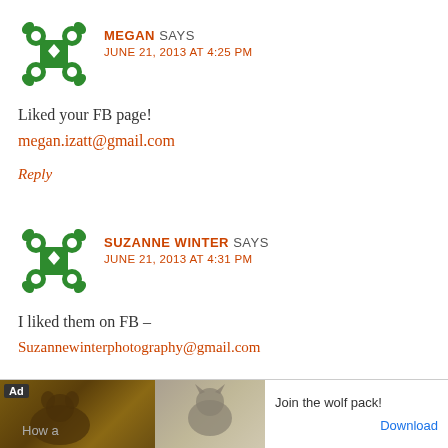[Figure (illustration): Green decorative avatar icon for user Megan]
MEGAN SAYS
JUNE 21, 2013 AT 4:25 PM
Liked your FB page!
megan.izatt@gmail.com
Reply
[Figure (illustration): Green decorative avatar icon for user Suzanne Winter]
SUZANNE WINTER SAYS
JUNE 21, 2013 AT 4:31 PM
I liked them on FB –
Suzannewinterphotography@gmail.com
[Figure (illustration): Advertisement banner: bear and wolf images with text 'Join the wolf pack!' and 'Download' link]